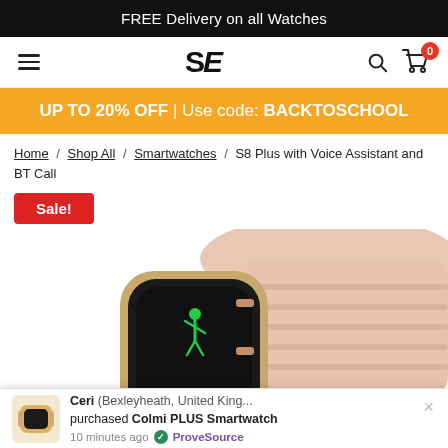FREE Delivery on all Watches
[Figure (logo): SE logo — bold stylized letters SE with italic E]
UP TO 20% OFF | Use code: BACKTOSCHOOL
Home / Shop All / Smartwatches / S8 Plus with Voice Assistant and BT Call
Sale!
[Figure (photo): Pink smartwatch (S8 Plus) with gold case showing a running figure on the screen, close-up angled view on white background]
Ceri (Bexleyheath, United King... purchased Colmi PLUS Smartwatch 10 minutes ago — ProveSource